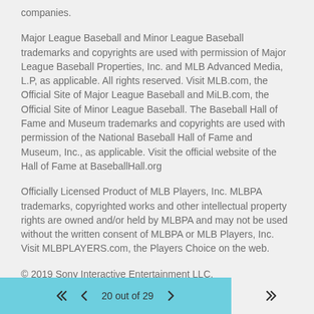companies.
Major League Baseball and Minor League Baseball trademarks and copyrights are used with permission of Major League Baseball Properties, Inc. and MLB Advanced Media, L.P, as applicable. All rights reserved. Visit MLB.com, the Official Site of Major League Baseball and MiLB.com, the Official Site of Minor League Baseball. The Baseball Hall of Fame and Museum trademarks and copyrights are used with permission of the National Baseball Hall of Fame and Museum, Inc., as applicable. Visit the official website of the Hall of Fame at BaseballHall.org
Officially Licensed Product of MLB Players, Inc. MLBPA trademarks, copyrighted works and other intellectual property rights are owned and/or held by MLBPA and may not be used without the written consent of MLBPA or MLB Players, Inc. Visit MLBPLAYERS.com, the Players Choice on the web.
© 2019 Sony Interactive Entertainment LLC.
20 out of 29